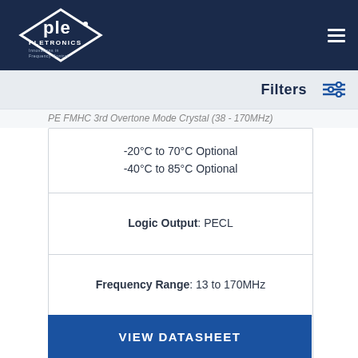Pletronics - Innovations in Frequency Control
Filters
PE FMHC 3rd Overtone Mode Crystal (38 - 170MHz)
-20°C to 70°C Optional
-40°C to 85°C Optional
Logic Output: PECL
Frequency Range: 13 to 170MHz
Supply Voltage: 2.5V
Package Size: 3.2 x 2.5
VIEW DATASHEET